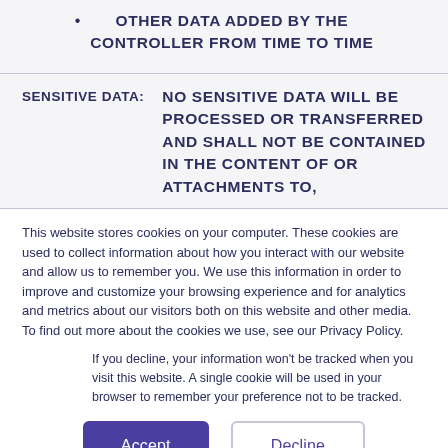OTHER DATA ADDED BY THE CONTROLLER FROM TIME TO TIME
SENSITIVE DATA: NO SENSITIVE DATA WILL BE PROCESSED OR TRANSFERRED AND SHALL NOT BE CONTAINED IN THE CONTENT OF OR ATTACHMENTS TO,
This website stores cookies on your computer. These cookies are used to collect information about how you interact with our website and allow us to remember you. We use this information in order to improve and customize your browsing experience and for analytics and metrics about our visitors both on this website and other media. To find out more about the cookies we use, see our Privacy Policy.
If you decline, your information won’t be tracked when you visit this website. A single cookie will be used in your browser to remember your preference not to be tracked.